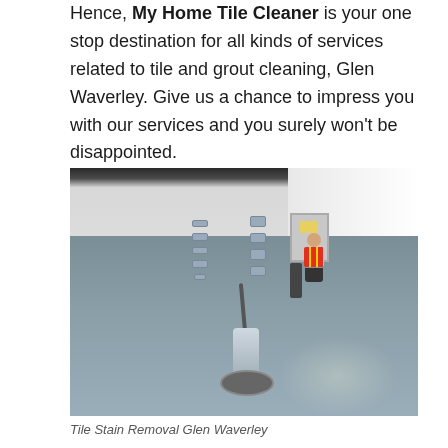Hence, My Home Tile Cleaner is your one stop destination for all kinds of services related to tile and grout cleaning, Glen Waverley. Give us a chance to impress you with our services and you surely won't be disappointed.
[Figure (photo): A large indoor room with a smooth grey floor being cleaned by a worker in a high-visibility vest using a mop/vacuum in the background, and a large floor polishing/buffing machine in the foreground. White walls with electrical outlets visible.]
Tile Stain Removal Glen Waverley